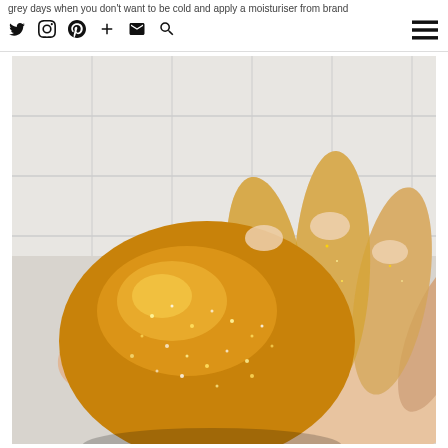grey days when you don't want to be cold and apply a moisturiser from brand
[Figure (photo): A hand holding a large gold glitter bath bomb. The hand is covered in gold glitter. Background is a white tiled bathroom wall.]